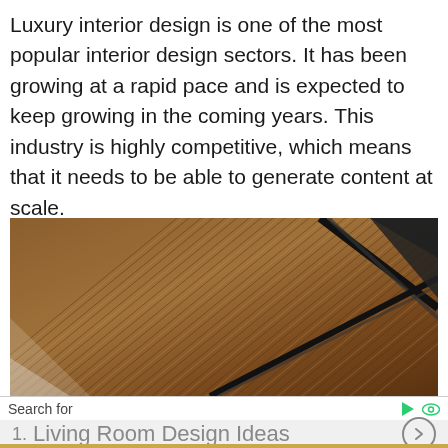Luxury interior design is one of the most popular interior design sectors. It has been growing at a rapid pace and is expected to keep growing in the coming years. This industry is highly competitive, which means that it needs to be able to generate content at scale.
[Figure (photo): Close-up photograph of wooden slat ceiling with linear parallel wood strips in warm brown tones, with a dark metal framing element crossing diagonally.]
Search for
1.  Living Room Design Ideas